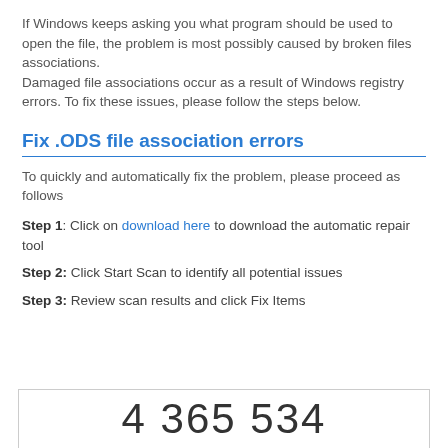If Windows keeps asking you what program should be used to open the file, the problem is most possibly caused by broken files associations. Damaged file associations occur as a result of Windows registry errors. To fix these issues, please follow the steps below.
Fix .ODS file association errors
To quickly and automatically fix the problem, please proceed as follows
Step 1: Click on download here to download the automatic repair tool
Step 2: Click Start Scan to identify all potential issues
Step 3: Review scan results and click Fix Items
4 365 534